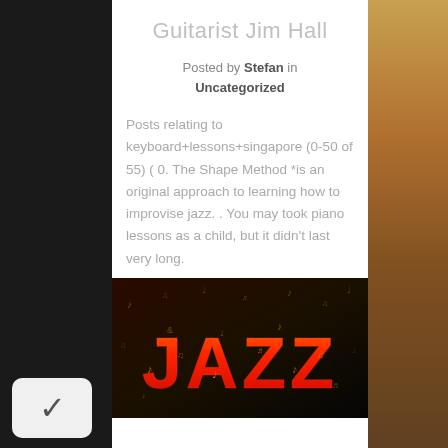Guitarist Jim Hall
Posted by Stefan in
Uncategorized
Posts relating to keyboard+lessons+singapore (0-50 of 55) ( 0. The Shape Method *is an original approach to learning how to improvise jazz. . You may took piano lessons as a child, but it didn't last very long.
[Figure (illustration): Colorful 'JAZZ' text artwork with musical notes on dark background, warm red-orange tones]